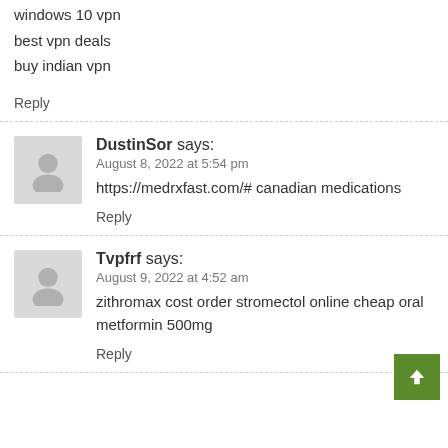windows 10 vpn
best vpn deals
buy indian vpn
Reply
DustinSor says:
August 8, 2022 at 5:54 pm
https://medrxfast.com/# canadian medications
Reply
Tvpfrf says:
August 9, 2022 at 4:52 am
zithromax cost order stromectol online cheap oral metformin 500mg
Reply